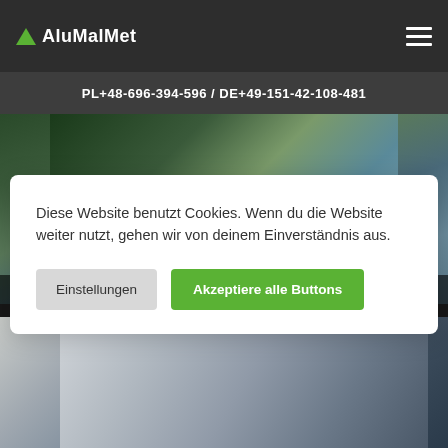AluMalMet
PL+48-696-394-596 / DE+49-151-42-108-481
[Figure (photo): Photo of a modern building exterior with plants and glass panels, dark overlay]
HOW CAN WE HELP YOU?
Diese Website benutzt Cookies. Wenn du die Website weiter nutzt, gehen wir von deinem Einverständnis aus.
Einstellungen | Akzeptiere alle Buttons
[Figure (photo): Photo of a modern white building with curved architecture and dark window frames]